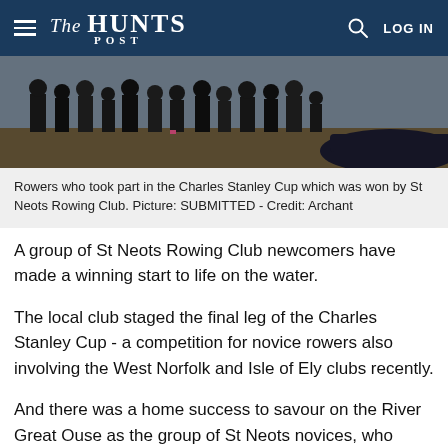The HUNTS POST
[Figure (photo): Crowd of rowers and spectators standing near a rowing boat on the riverbank, viewed from behind, outdoors on a sunny day.]
Rowers who took part in the Charles Stanley Cup which was won by St Neots Rowing Club. Picture: SUBMITTED - Credit: Archant
A group of St Neots Rowing Club newcomers have made a winning start to life on the water.
The local club staged the final leg of the Charles Stanley Cup - a competition for novice rowers also involving the West Norfolk and Isle of Ely clubs recently.
And there was a home success to savour on the River Great Ouse as the group of St Neots novices, who have